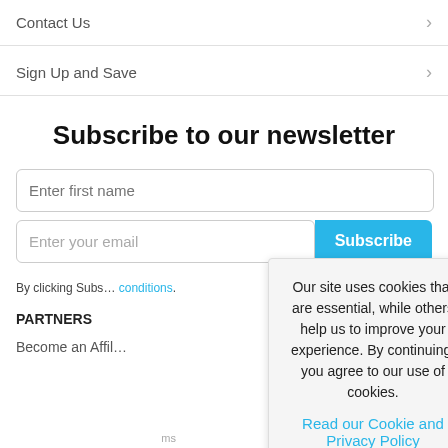Contact Us
Sign Up and Save
Subscribe to our newsletter
Enter first name
Enter your email
By clicking Subs... conditions.
PARTNERS
Become an Affil...
Our site uses cookies that are essential, while others help us to improve your experience. By continuing, you agree to our use of cookies. Read our Cookie and Privacy Policy
Dismiss
Got it!